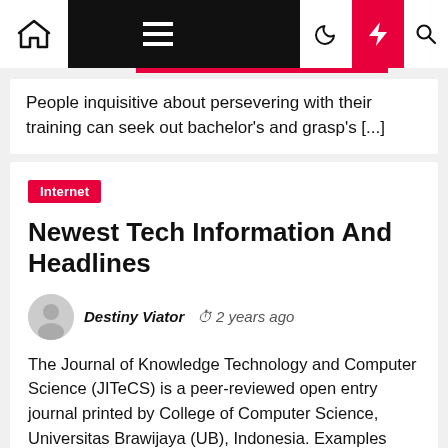Navigation bar with home, hamburger menu, dark mode, lightning, and search icons
People inquisitive about persevering with their training can seek out bachelor's and grasp's [...]
Internet
Newest Tech Information And Headlines
Destiny Viator  2 years ago
The Journal of Knowledge Technology and Computer Science (JITeCS) is a peer-reviewed open entry journal printed by College of Computer Science, Universitas Brawijaya (UB), Indonesia. Examples embody enterprise software , accounting